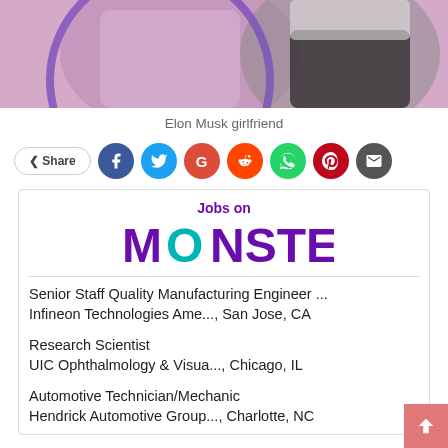[Figure (photo): Photo of a person in a sparkly pink/lavender outfit and another person in a black t-shirt, partial view]
Elon Musk girlfriend
[Figure (infographic): Share button with social media icons: Facebook, Twitter, Google, Reddit, WhatsApp, Pinterest, Email]
[Figure (logo): Jobs on Monster logo - Monster brand advertisement box]
Senior Staff Quality Manufacturing Engineer ...
Infineon Technologies Ame..., San Jose, CA
Research Scientist
UIC Ophthalmology & Visua..., Chicago, IL
Automotive Technician/Mechanic
Hendrick Automotive Group..., Charlotte, NC